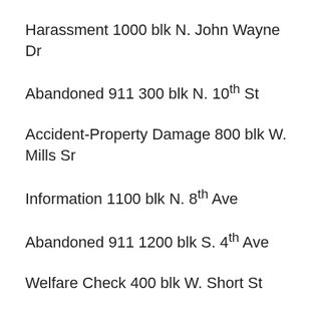Harassment 1000 blk N. John Wayne Dr
Abandoned 911 300 blk N. 10th St
Accident-Property Damage 800 blk W. Mills Sr
Information 1100 blk N. 8th Ave
Abandoned 911 1200 blk S. 4th Ave
Welfare Check 400 blk W. Short St
Abandoned 911 1200 blk W. Court Ave